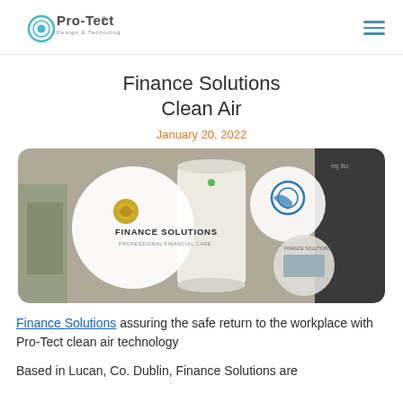Pro-Tect Design & Technology [logo] | [hamburger menu icon]
Finance Solutions Clean Air
January 20, 2022
[Figure (photo): Photo collage showing Pro-Tect air purification device on a desk in a Finance Solutions office, with circular insets showing the Finance Solutions logo, the air purifier close-up, an office corridor, and equipment.]
Finance Solutions assuring the safe return to the workplace with Pro-Tect clean air technology
Based in Lucan, Co. Dublin, Finance Solutions are